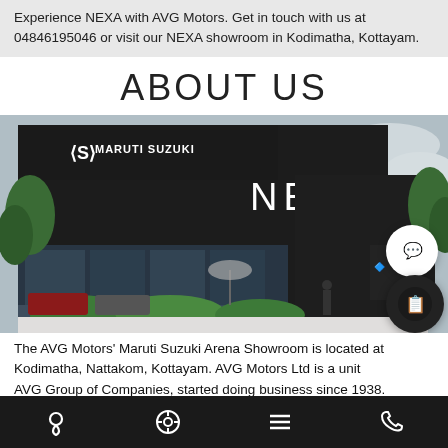Experience NEXA with AVG Motors. Get in touch with us at 04846195046 or visit our NEXA showroom in Kodimatha, Kottayam.
ABOUT US
[Figure (photo): Exterior photo of Maruti Suzuki NEXA showroom building with dark facade, glass frontage, trees, parked cars, and NEXA signage visible.]
The AVG Motors' Maruti Suzuki Arena Showroom is located at Kodimatha, Nattakom, Kottayam. AVG Motors Ltd is a unit of AVG Group of Companies, started doing business since 1938.